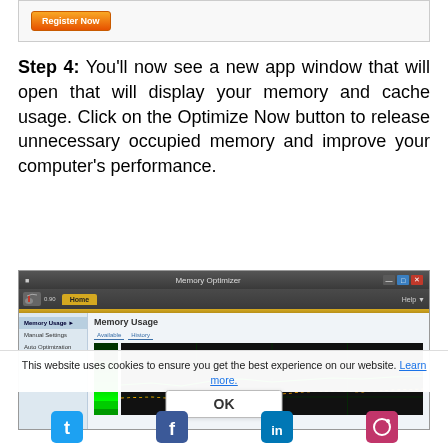[Figure (screenshot): Register Now button in a bordered box at the top of the page]
Step 4: You'll now see a new app window that will open that will display your memory and cache usage. Click on the Optimize Now button to release unnecessary occupied memory and improve your computer's performance.
[Figure (screenshot): Memory Optimizer application window showing Memory Usage panel with sidebar menu (Memory Usage, Manual Settings, Auto Optimization), Available and History tabs, a bar-style memory usage indicator, and a green line graph chart. Cookie consent banner overlaid: 'This website uses cookies to ensure you get the best experience on our website. Learn more.' with OK button. Social icons visible at bottom.]